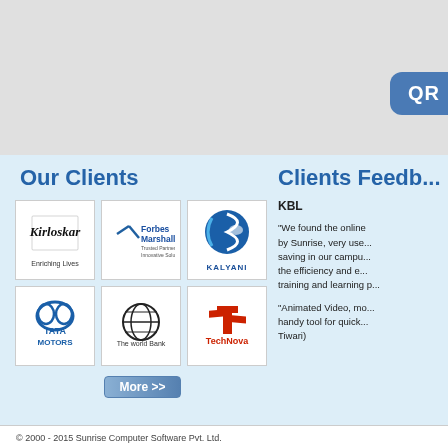[Figure (screenshot): Top gray section showing partial UI with blue rounded button elements and a 'QR' label visible on the right]
Our Clients
Clients Feedb...
[Figure (logo): Kirloskar logo with 'Enriching Lives' text]
[Figure (logo): Forbes Marshall logo - Trusted Partners, Innovative Solutions]
[Figure (logo): Kalyani logo - blue circular arrow design]
[Figure (logo): Tata Motors logo]
[Figure (logo): The World Bank logo - globe icon]
[Figure (logo): TechNova logo in red]
KBL
"We found the online ... by Sunrise, very use... saving in our campu... the efficiency and e... training and learning p...
"Animated Video, mo... handy tool for quick... Tiwari)
© 2000 - 2015 Sunrise Computer Software Pvt. Ltd.